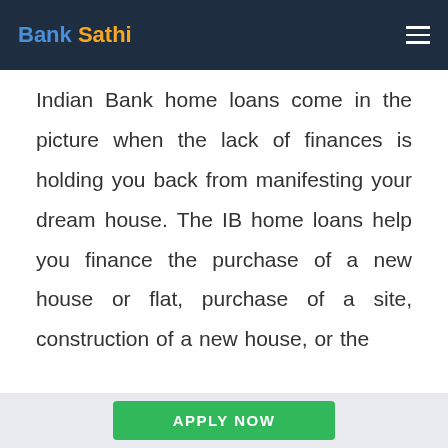Bank Sathi
Indian Bank home loans come in the picture when the lack of finances is holding you back from manifesting your dream house. The IB home loans help you finance the purchase of a new house or flat, purchase of a site, construction of a new house, or the